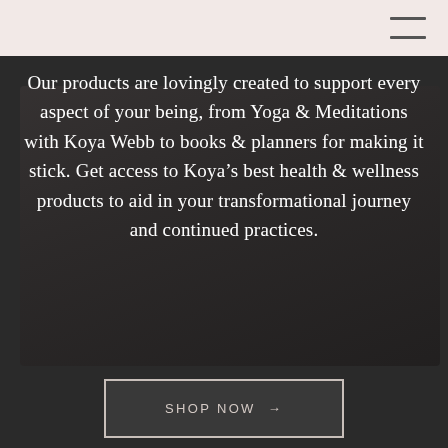[Figure (photo): Dark background with a laptop computer visible, used as a hero section background image]
Our products are lovingly created to support every aspect of your being, from Yoga & Meditations with Koya Webb to books & planners for making it stick. Get access to Koya's best health & wellness products to aid in your transformational journey and continued practices.
SHOP NOW →